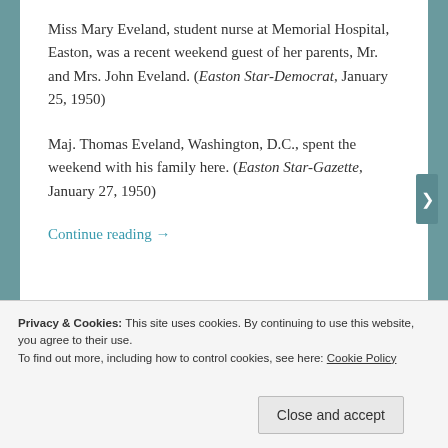Miss Mary Eveland, student nurse at Memorial Hospital, Easton, was a recent weekend guest of her parents, Mr. and Mrs. John Eveland. (Easton Star-Democrat, January 25, 1950)
Maj. Thomas Eveland, Washington, D.C., spent the weekend with his family here. (Easton Star-Gazette, January 27, 1950)
Continue reading →
Privacy & Cookies: This site uses cookies. By continuing to use this website, you agree to their use. To find out more, including how to control cookies, see here: Cookie Policy